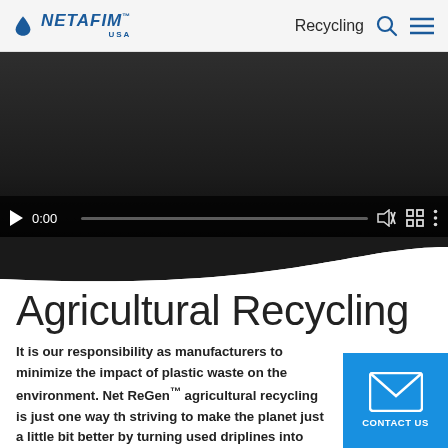[Figure (logo): Netafim USA logo with blue water drop and italic text]
Recycling
[Figure (screenshot): Video player showing black/dark background, paused at 0:00 with play button, progress bar, mute, fullscreen, and more options icons]
Agricultural Recycling
It is our responsibility as manufacturers to minimize the impact of plastic waste on the environment. Net ReGen™ agricultural recycling is just one way th striving to make the planet just a little bit better by turning used driplines into new driplines!